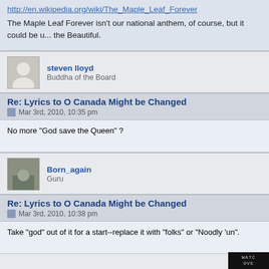http://en.wikipedia.org/wiki/The_Maple_Leaf_Forever
The Maple Leaf Forever isn't our national anthem, of course, but it could be u... the Beautiful.
steven lloyd
Buddha of the Board
Re: Lyrics to O Canada Might be Changed
Mar 3rd, 2010, 10:35 pm
No more "God save the Queen" ?
Born_again
Guru
Re: Lyrics to O Canada Might be Changed
Mar 3rd, 2010, 10:38 pm
Take "god" out of it for a start--replace it with "folks" or "Noodly 'un".